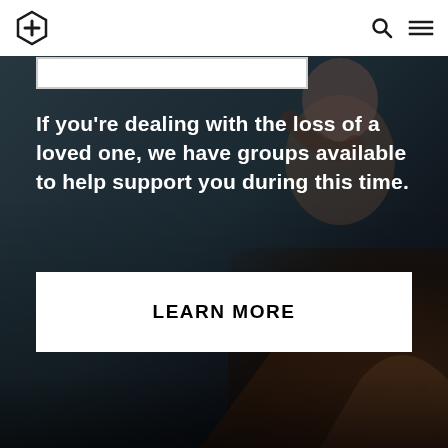[Figure (screenshot): Website screenshot showing a navigation bar with a medical cross-shield logo on the left and search/menu icons on the right, over a dark background photo of a person sitting with head in hand]
If you're dealing with the loss of a loved one, we have groups available to help support you during this time.
LEARN MORE